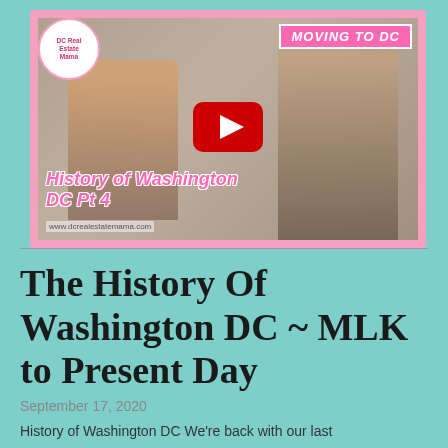[Figure (screenshot): YouTube video thumbnail for 'History of Washington DC Pt 4' with pink border, 'MOVING TO DC' banner, DC Real Estate Mama logo, a woman and two children, a YouTube play button, and text overlay 'History of Washington DC Pt 4' in pink italic font. URL www.dcrealestatemama.com visible at bottom.]
The History Of Washington DC ~ MLK to Present Day
September 17, 2020
History of Washington DC We're back with our last